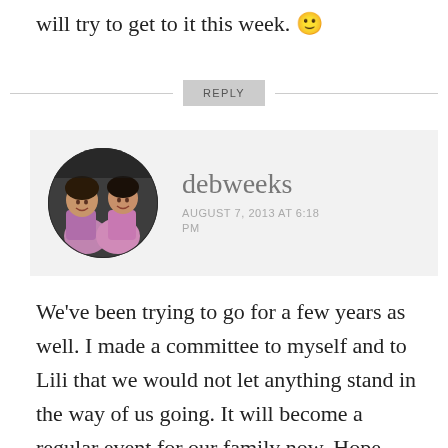will try to get to it this week. 🙂
REPLY
[Figure (photo): Circular avatar photo of two young girls in pink jackets]
debweeks
AUGUST 7, 2013 AT 6:18 PM
We've been trying to go for a few years as well. I made a committee to myself and to Lili that we would not let anything stand in the way of us going. It will become a regular event for our family now. Hope we'll see you there next year too!